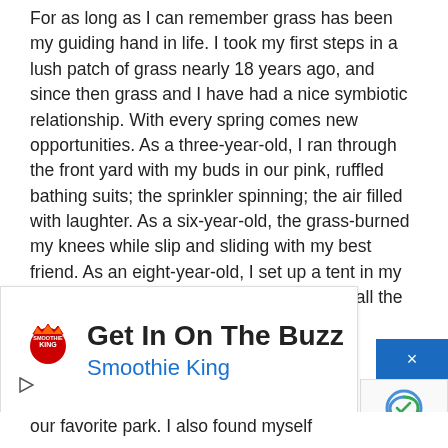For as long as I can remember grass has been my guiding hand in life. I took my first steps in a lush patch of grass nearly 18 years ago, and since then grass and I have had a nice symbiotic relationship. With every spring comes new opportunities. As a three-year-old, I ran through the front yard with my buds in our pink, ruffled bathing suits; the sprinkler spinning; the air filled with laughter. As a six-year-old, the grass-burned my knees while slip and sliding with my best friend. As an eight-year-old, I set up a tent in my backyard and roasted marshmallows with all the kids in the
[Figure (other): Advertisement banner for Smoothie King with text 'Get In On The Buzz' and 'Smoothie King' in blue, with Smoothie King logo, a play button, and a close button.]
our favorite park. I also found myself